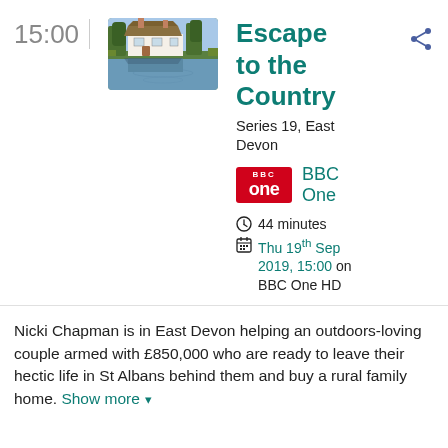15:00
[Figure (photo): Thatched cottage reflected in a pond surrounded by greenery]
Escape to the Country
Series 19, East Devon
[Figure (logo): BBC One red logo badge]
BBC One
44 minutes
Thu 19th Sep 2019, 15:00 on BBC One HD
Nicki Chapman is in East Devon helping an outdoors-loving couple armed with £850,000 who are ready to leave their hectic life in St Albans behind them and buy a rural family home. Show more